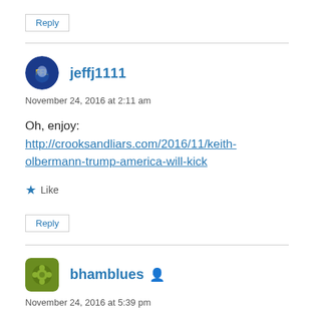Reply
jeffj1111
November 24, 2016 at 2:11 am
Oh, enjoy: http://crooksandliars.com/2016/11/keith-olbermann-trump-america-will-kick
Like
Reply
bhamblues
November 24, 2016 at 5:39 pm